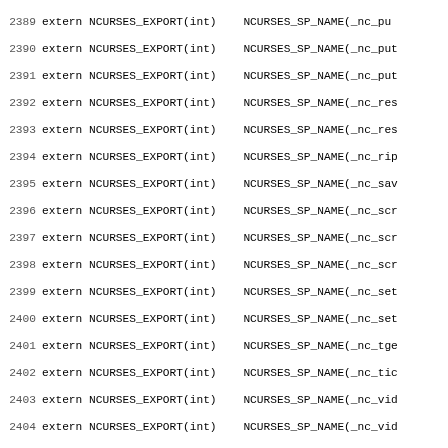Source code listing showing extern NCURSES_EXPORT declarations with NCURSES_SP_NAME macros, lines 2389-2421